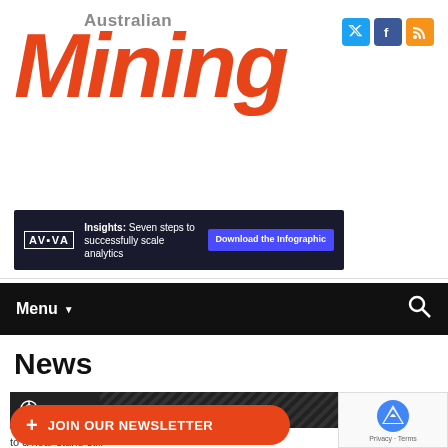[Figure (logo): Australian Mining magazine logo - large red italic 'Mining' text with grey 'Australian' above, and social media icons (Twitter, Facebook, RSS) top right]
[Figure (infographic): AVEVA dark banner ad: 'Insights: Seven steps to successfully scale analytics' with 'Download the Infographic' blue button]
Menu
News
NEWS
JOIN OUR NEWSLETTER
4 Falling commod to a near stand-still the industry posting its smallest ever quarterly wage increase.